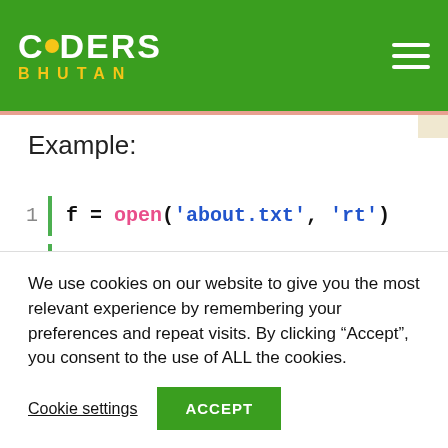CODERS BHUTAN
Example:
[Figure (screenshot): Code block showing 7 lines of Python file reading code with syntax highlighting: line 1: f = open('about.txt', 'rt'), line 2: content = f.read(6), line 3: print(content), line 4: print("current location of the cu..."), line 5: print("New location of cursor: ",), line 6: print("Printing 3 char after seek..."), line 7: f.close()]
We use cookies on our website to give you the most relevant experience by remembering your preferences and repeat visits. By clicking “Accept”, you consent to the use of ALL the cookies.
Cookie settings
ACCEPT